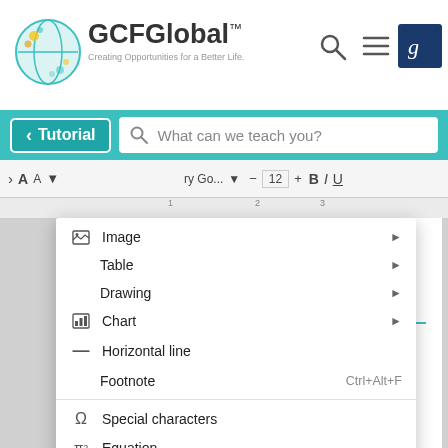[Figure (screenshot): GCFGlobal website header with logo, search icon, menu icon, and Goodwill icon]
[Figure (screenshot): Teal navigation bar with Tutorial button and 'What can we teach you?' search bar]
[Figure (screenshot): Google Docs Insert menu dropdown showing options: Image, Table, Drawing, Chart, Horizontal line, Footnote (Ctrl+Alt+F), Special characters, Equation, Headers & footers, Page numbers, Break, Link (Ctrl+K), Comment (Ctrl+Alt+M)]